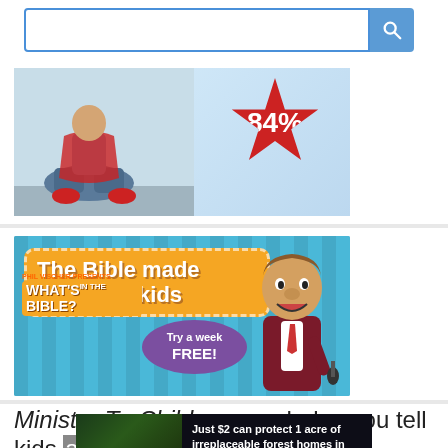[Figure (screenshot): Search bar with text input field and blue search button with magnifying glass icon]
[Figure (photo): Advertisement banner showing child sitting cross-legged with red star badge showing '84%' discount or statistic, blue sky background]
[Figure (illustration): Advertisement for 'What's in the Bible?' showing animated character, orange box with text 'The Bible made EASY for kids', purple oval with 'Try a week FREE!' text, blue corrugated metal background]
Ministry-To-Children.com helps you tell kids about
[Figure (photo): Advertisement: 'Just $2 can protect 1 acre of irreplaceable forest homes in the Amazon. How many acres are you willing to protect?' with green PROTECT FORESTS NOW button, forest/nature background image]